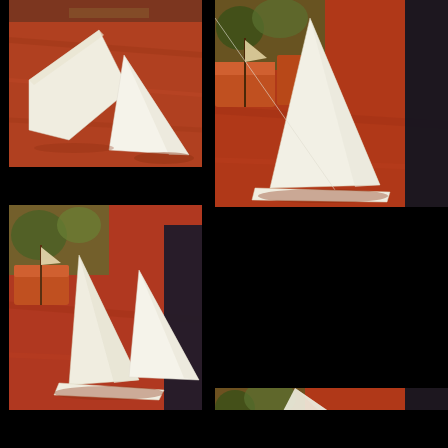[Figure (photo): Photo 1: White folded paper/cardboard triangular shapes on a reddish-brown wooden table surface, viewed from above at an angle. Background is partially visible at top.]
[Figure (photo): Photo 2: White folded paper/cardboard triangular shapes on a reddish-brown wooden table, with decorative ship/boat figurines visible in the background left.]
[Figure (photo): Photo 3: White folded paper/cardboard triangular shapes (taller configuration) on a reddish-brown wooden table, with decorative ship/boat figurines visible in background left, dark notebook/book visible at right.]
[Figure (photo): Photo 4: White folded paper/cardboard shapes partially visible at bottom of frame, same table setting with decorative ship figurines visible.]